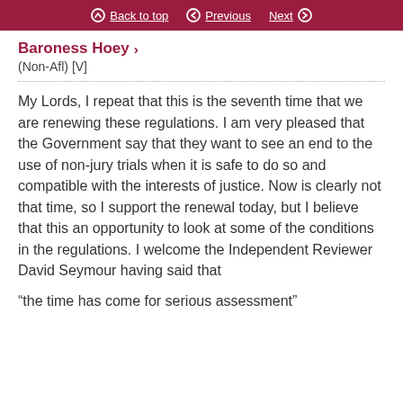Back to top   Previous   Next
Baroness Hoey
(Non-Afl) [V]
My Lords, I repeat that this is the seventh time that we are renewing these regulations. I am very pleased that the Government say that they want to see an end to the use of non-jury trials when it is safe to do so and compatible with the interests of justice. Now is clearly not that time, so I support the renewal today, but I believe that this an opportunity to look at some of the conditions in the regulations. I welcome the Independent Reviewer David Seymour having said that
“the time has come for serious assessment”